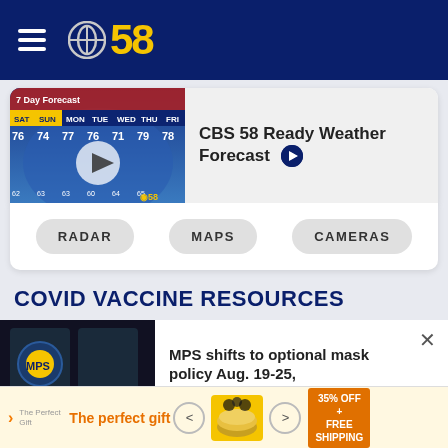[Figure (logo): CBS 58 logo with hamburger menu on dark blue header bar]
[Figure (screenshot): CBS 58 Ready Weather Forecast thumbnail showing 7 Day Forecast with temperatures 76 74 77 76 71 79 78]
CBS 58 Ready Weather Forecast
RADAR
MAPS
CAMERAS
COVID VACCINE RESOURCES
[Figure (photo): MPS sign on building, dark background]
MPS shifts to optional mask policy Aug. 19-25,
[Figure (photo): Advertisement banner: The perfect gift, 35% OFF + FREE SHIPPING]